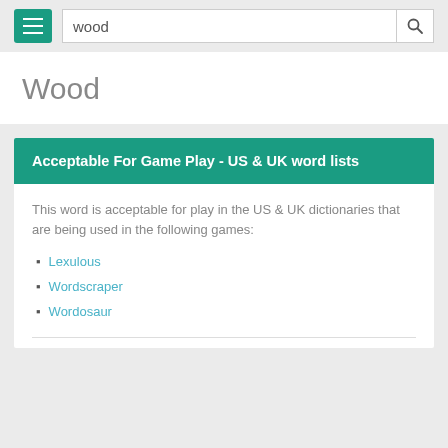wood [search bar]
Wood
Acceptable For Game Play - US & UK word lists
This word is acceptable for play in the US & UK dictionaries that are being used in the following games:
Lexulous
Wordscraper
Wordosaur